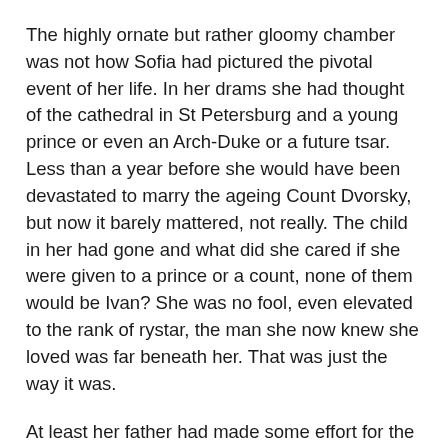The highly ornate but rather gloomy chamber was not how Sofia had pictured the pivotal event of her life. In her drams she had thought of the cathedral in St Petersburg and a young prince or even an Arch-Duke or a future tsar. Less than a year before she would have been devastated to marry the ageing Count Dvorsky, but now it barely mattered, not really. The child in her had gone and what did she cared if she were given to a prince or a count, none of them would be Ivan? She was no fool, even elevated to the rank of rystar, the man she now knew she loved was far beneath her. That was just the way it was.
At least her father had made some effort for the big day. Even the priest had taken a bath, the thought of which made her giggle. She pictured the hirsute old man scowling as he viewed a steaming tub, perhaps his first